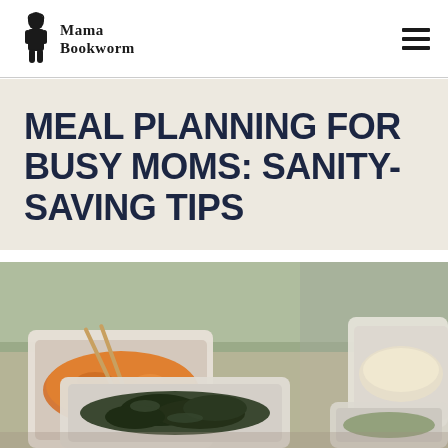Mama Bookworm
MEAL PLANNING FOR BUSY MOMS: SANITY-SAVING TIPS
[Figure (photo): Meal prep containers filled with various prepared foods including orange/red stir-fry with chopsticks, dark leafy greens, and other prepared vegetables in clear plastic containers on a table.]